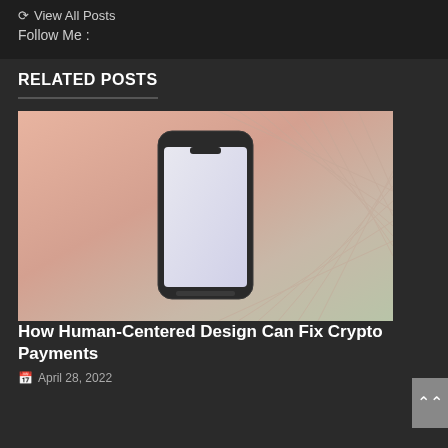View All Posts
Follow Me :
RELATED POSTS
[Figure (photo): A smartphone with a blank screen lying flat on a herringbone patterned surface with warm pink-orange and cool green gradient colors]
How Human-Centered Design Can Fix Crypto Payments
April 28, 2022